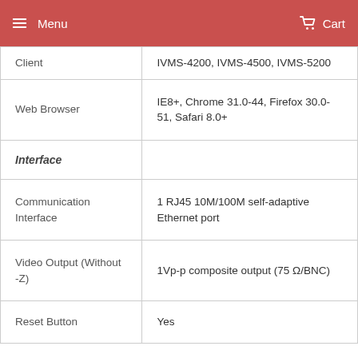Menu   Cart
| Client | IVMS-4200, IVMS-4500, IVMS-5200 |
| Web Browser | IE8+, Chrome 31.0-44, Firefox 30.0-51, Safari 8.0+ |
| Interface |  |
| Communication Interface | 1 RJ45 10M/100M self-adaptive Ethernet port |
| Video Output (Without -Z) | 1Vp-p composite output (75 Ω/BNC) |
| Reset Button | Yes |